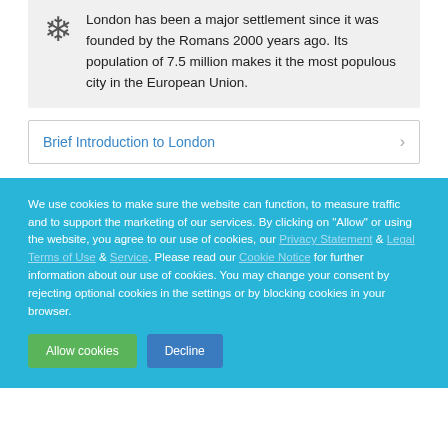London has been a major settlement since it was founded by the Romans 2000 years ago. Its population of 7.5 million makes it the most populous city in the European Union.
Brief Introduction to London
We use cookies to make sure the website can function, to measure traffic and to support the marketing of our services. By clicking on "Allow" or using the website, you agree to our use of cookies, our Privacy Statement & Legal Terms of Use & Service. Please read our Cookie Notice for further information about our use of cookies. You may change your consent by rejecting optional cookies in the settings or by blocking cookies in your browser.